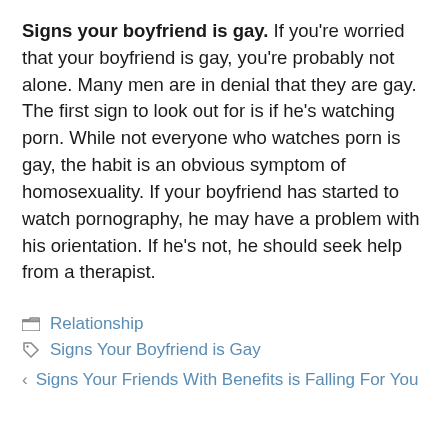Signs your boyfriend is gay. If you're worried that your boyfriend is gay, you're probably not alone. Many men are in denial that they are gay. The first sign to look out for is if he's watching porn. While not everyone who watches porn is gay, the habit is an obvious symptom of homosexuality. If your boyfriend has started to watch pornography, he may have a problem with his orientation. If he's not, he should seek help from a therapist.
Relationship
Signs Your Boyfriend is Gay
< Signs Your Friends With Benefits is Falling For You